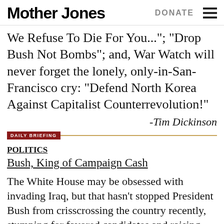Mother Jones  DONATE
We Refuse To Die For You..."; "Drop Bush Not Bombs"; and, War Watch will never forget the lonely, only-in-San-Francisco cry: "Defend North Korea Against Capitalist Counterrevolution!"
-Tim Dickinson
DAILY BRIEFING
POLITICS
Bush, King of Campaign Cash
The White House may be obsessed with invading Iraq, but that hasn't stopped President Bush from crisscrossing the country recently, stumping for favored candidates and raising money for Republican causes. In fact, reports Linda Feldmann